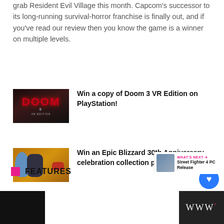grab Resident Evil Village this month. Capcom's successor to its long-running survival-horror franchise is finally out, and if you've read our review then you know the game is a winner on multiple levels.
[Figure (photo): Doom 3 VR Edition game cover art showing dark demonic imagery]
Win a copy of Doom 3 VR Edition on PlayStation!
[Figure (photo): Epic Blizzard 30th Anniversary celebration collection pack items including figurines and vehicles]
Win an Epic Blizzard 30th Anniversary celebration collection pack!
[Figure (photo): Lego Star Wars set box showing AT-AT walker]
And the winner of our Lego Star Wars set i…
FEATURES